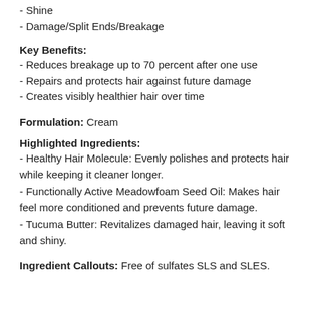- Shine
- Damage/Split Ends/Breakage
Key Benefits:
- Reduces breakage up to 70 percent after one use
- Repairs and protects hair against future damage
- Creates visibly healthier hair over time
Formulation: Cream
Highlighted Ingredients:
- Healthy Hair Molecule: Evenly polishes and protects hair while keeping it cleaner longer.
- Functionally Active Meadowfoam Seed Oil: Makes hair feel more conditioned and prevents future damage.
- Tucuma Butter: Revitalizes damaged hair, leaving it soft and shiny.
Ingredient Callouts: Free of sulfates SLS and SLES.